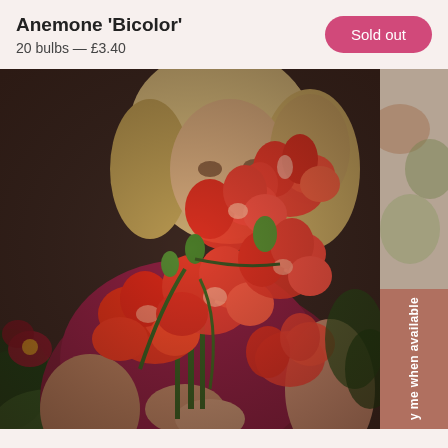Anemone 'Bicolor'
20 bulbs — £3.40
Sold out
[Figure (photo): A smiling blonde woman in a dark red t-shirt holding a large bouquet of bright red/orange gladiolus flowers, standing outdoors in front of a brick wall with garden plants visible. The flowers are prominently displayed in the foreground.]
y me when available